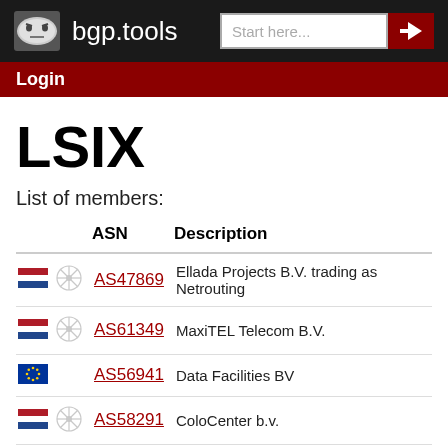bgp.tools
LSIX
List of members:
|  |  | ASN | Description |  |
| --- | --- | --- | --- | --- |
| NL flag | snowflake | AS47869 | Ellada Projects B.V. trading as Netrouting |  |
| NL flag | snowflake | AS61349 | MaxiTEL Telecom B.V. |  |
| EU flag |  | AS56941 | Data Facilities BV |  |
| NL flag | snowflake | AS58291 | ColoCenter b.v. |  |
| NL flag | intel | AS51942 | EK Media B.V. |  |